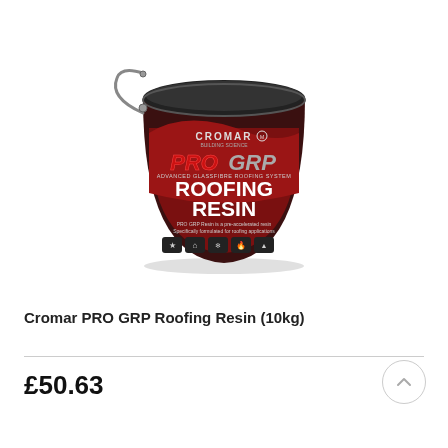[Figure (photo): A large dark red/brown metallic bucket/tin of Cromar PRO GRP Roofing Resin (10kg). The label shows 'CROMAR' at the top, 'PRO GRP' branding in red and grey, 'ROOFING RESIN' in large white text, and small icons at the bottom. The bucket has a metal handle.]
Cromar PRO GRP Roofing Resin (10kg)
£50.63